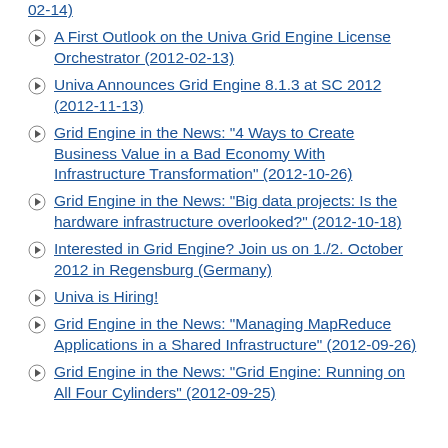02-14)
A First Outlook on the Univa Grid Engine License Orchestrator (2012-02-13)
Univa Announces Grid Engine 8.1.3 at SC 2012 (2012-11-13)
Grid Engine in the News: "4 Ways to Create Business Value in a Bad Economy With Infrastructure Transformation" (2012-10-26)
Grid Engine in the News: "Big data projects: Is the hardware infrastructure overlooked?" (2012-10-18)
Interested in Grid Engine? Join us on 1./2. October 2012 in Regensburg (Germany)
Univa is Hiring!
Grid Engine in the News: "Managing MapReduce Applications in a Shared Infrastructure" (2012-09-26)
Grid Engine in the News: "Grid Engine: Running on All Four Cylinders" (2012-09-25)